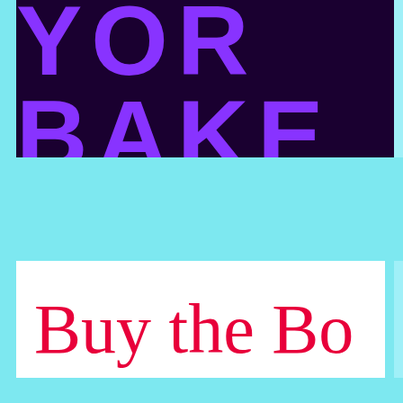[Figure (illustration): Cropped view of a book or product cover with dark purple background and large bold purple text reading 'YOR BAKE' (partially visible). Below is a cyan/light blue section with a white card containing red serif text 'Buy the Bo' (partially cut off, likely 'Buy the Book').]
Buy the Bo